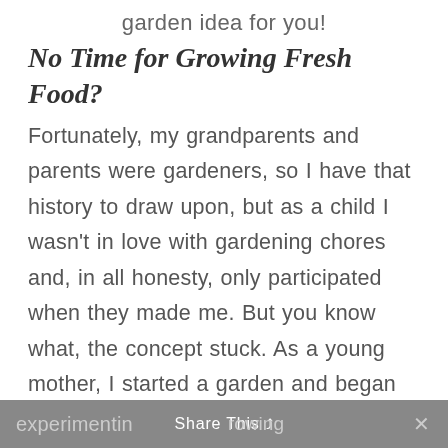garden idea for you!
No Time for Growing Fresh Food?
Fortunately, my grandparents and parents were gardeners, so I have that history to draw upon, but as a child I wasn't in love with gardening chores and, in all honesty, only participated when they made me. But you know what, the concept stuck. As a young mother, I started a garden and began
experimentin  Share This  rowing  ×